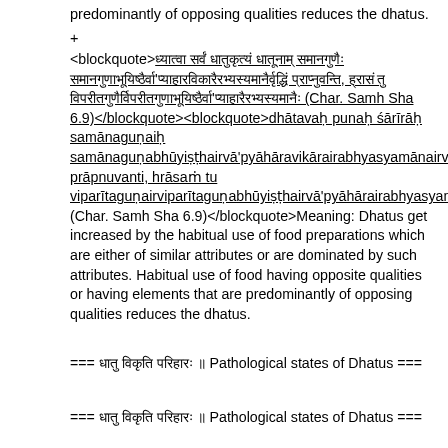predominantly of opposing qualities reduces the dhatus.
+
<blockquote>ध्यात्वा सर्वं धातुकृत्यं धातूनाम् समानगुणैः समानगुणाभूयिष्ठैर्वा'प्याहारविकारैरभ्यस्यमानैर्वृद्धिं प्राप्नुवन्ति, ह्रासं तु विपरीतगुणैर्विपरीतगुणाभूयिष्ठैर्वा'प्याहारैरभ्यस्यमानैः॥ (Char. Samh Sha 6.9)</blockquote><blockquote>dhātavaḥ punaḥ śārīrāḥ samānaguṇaiḥ samānaguṇabhūyiṣṭhairvā'pyāhāravikārairabhyasyamānairvṛddhiṁ prāpnuvanti, hrāsaṁ tu viparītaguṇairviparītaguṇabhūyiṣṭhairvā'pyāhārairabhyasyamānaiḥ॥ (Char. Samh Sha 6.9)</blockquote>Meaning: Dhatus get increased by the habitual use of food preparations which are either of similar attributes or are dominated by such attributes. Habitual use of food having opposite qualities or having elements that are predominantly of opposing qualities reduces the dhatus.
=== धातु विकृति परिहारः ॥ Pathological states of Dhatus ===
=== धातु विकृति परिहारः ॥ Pathological states of Dhatus ===